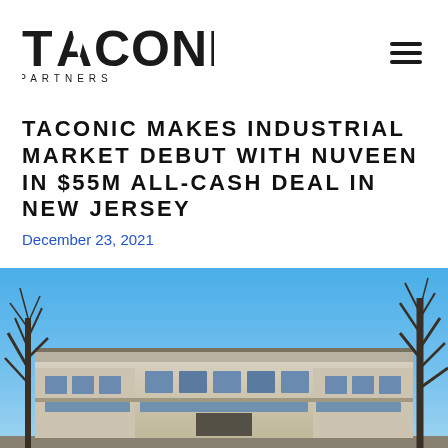[Figure (logo): Taconic Partners logo — bold sans-serif TACONIC with triangle A, PARTNERS in spaced letters below]
TACONIC MAKES INDUSTRIAL MARKET DEBUT WITH NUVEEN IN $55M ALL-CASH DEAL IN NEW JERSEY
December 23, 2021
[Figure (photo): Exterior photo of a low-rise industrial/commercial building with large windows, bare trees in foreground, blue sky background. Building has a flat-roofed modern design with horizontal bands of windows.]